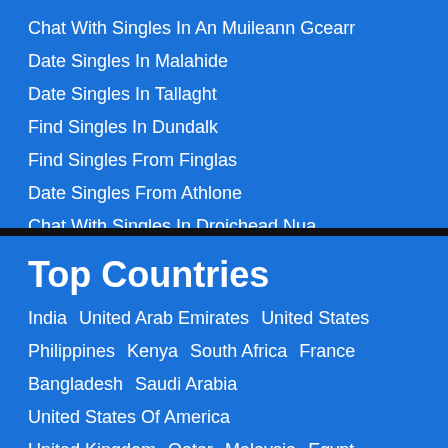Chat With Singles In An Muileann Gcearr
Date Singles In Malahide    Date Singles In Tallaght
Find Singles In Dundalk    Find Singles From Finglas
Date Singles From Athlone
Chat With Singles In Droichead Nua
Top Countries
India    United Arab Emirates    United States
Philippines    Kenya    South Africa    France
Bangladesh    Saudi Arabia    United States Of America
United Kingdom    Qatar    Malaysia    Egypt